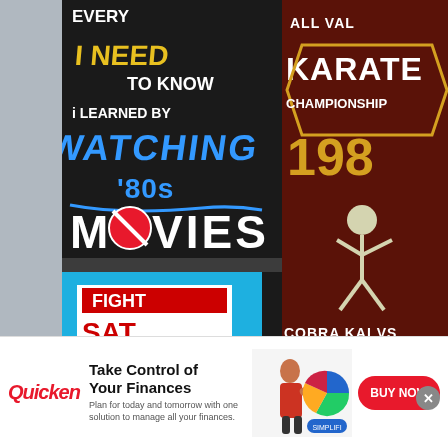[Figure (photo): Left panel: Dark t-shirt with text 'EVERYTHING I NEED TO KNOW I LEARNED BY WATCHING 80s MOVIES' with colorful graphics including a no-symbol on the letter O. Right panel: Brown background karate championship graphic reading 'ALL VALLEY KARATE CHAMPIONSHIP 198, COBRA KAI VS' with a karate fighter illustration.]
[Figure (photo): MMA fight photo showing Leon Edwards kicking an opponent in a UFC ring, with a blue arrow circle button overlay and text 'Leon Edwards rallies to' partially visible at bottom.]
[Figure (advertisement): Quicken advertisement showing a woman at a desk with financial charts. Text reads: 'Take Control of Your Finances. Your Finances. Plan for today and tomorrow with one solution to manage all your finances.' with a BUY NOW button.]